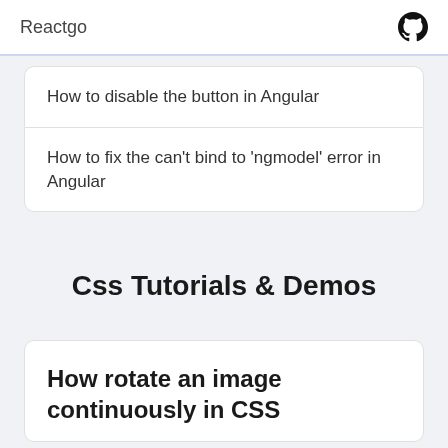Reactgo
How to disable the button in Angular
How to fix the can't bind to 'ngmodel' error in Angular
Css Tutorials & Demos
How rotate an image continuously in CSS